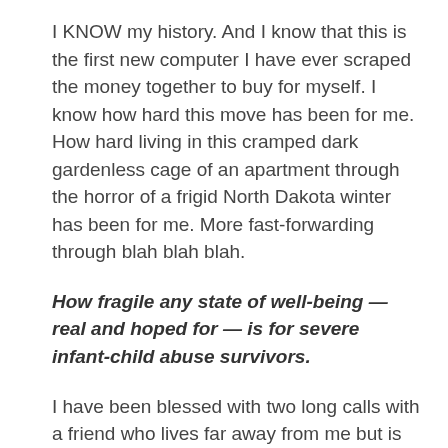I KNOW my history. And I know that this is the first new computer I have ever scraped the money together to buy for myself. I know how hard this move has been for me. How hard living in this cramped dark gardenless cage of an apartment through the horror of a frigid North Dakota winter has been for me. More fast-forwarding through blah blah blah.
How fragile any state of well-being — real and hoped for — is for severe infant-child abuse survivors.
I have been blessed with two long calls with a friend who lives far away from me but is very close in my heart that have helped me process the crushedness that arose for me over this teensy miscommunication and the explosion that followed.